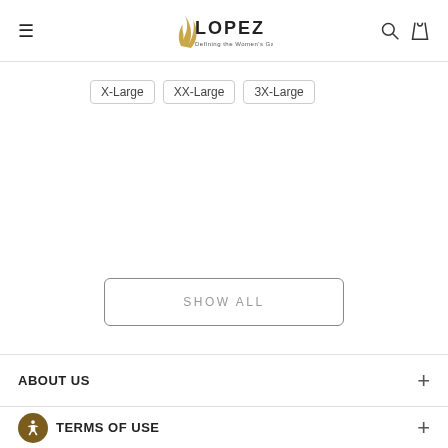LOPEZ — Defining the Women's Game
X-Large
XX-Large
3X-Large
SHOW ALL
ABOUT US
TERMS OF USE